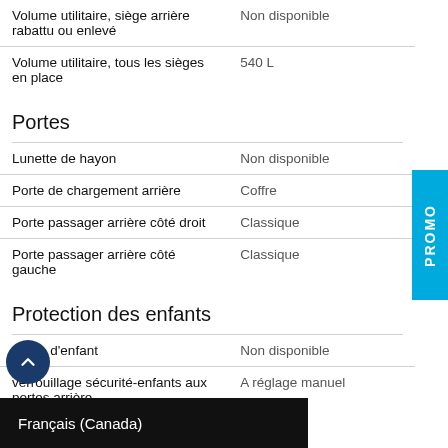| Caractéristique | Valeur |
| --- | --- |
| Volume utilitaire, siège arrière rabattu ou enlevé | Non disponible |
| Volume utilitaire, tous les sièges en place | 540 L |
Portes
| Caractéristique | Valeur |
| --- | --- |
| Lunette de hayon | Non disponible |
| Porte de chargement arrière | Coffre |
| Porte passager arrière côté droit | Classique |
| Porte passager arrière côté gauche | Classique |
Protection des enfants
| Caractéristique | Valeur |
| --- | --- |
| Siège d'enfant | Non disponible |
| verrouillage sécurité-enfants aux portes arrière | A réglage manuel |
Réglages à mémoire
| Caractéristique | Valeur |
| --- | --- |
| [partiellement visible]e | Non disponible |
| [partiellement visible]mémoire | Non disponible |
Français (Canada)